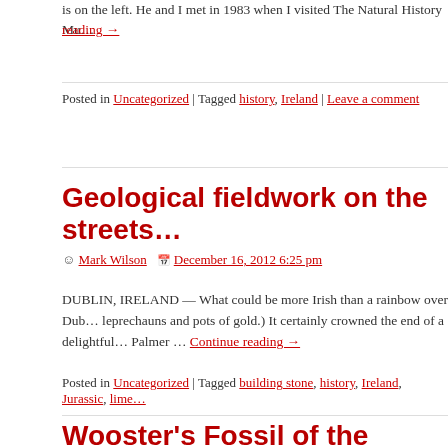is on the left. He and I met in 1983 when I visited The Natural History Mu…
reading →
Posted in Uncategorized | Tagged history, Ireland | Leave a comment
Geological fieldwork on the streets…
Mark Wilson  December 16, 2012 6:25 pm
DUBLIN, IRELAND — What could be more Irish than a rainbow over Dub… leprechauns and pots of gold.)  It certainly crowned the end of a delightful… Palmer … Continue reading →
Posted in Uncategorized | Tagged building stone, history, Ireland, Jurassic, lime…
Wooster's Fossil of the Week: A bi… from the Upper Ordovician of sout…